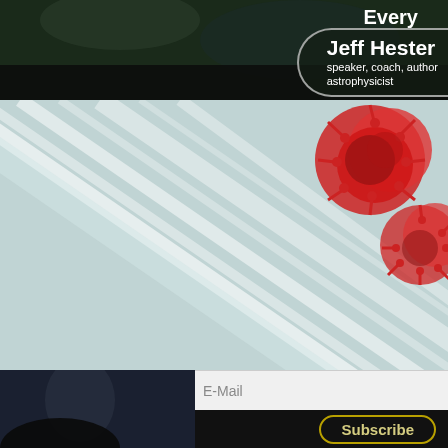Every
Jeff Hester
speaker, coach, author
astrophysicist
e is no going back.
here are no roadmaps forward.
But there is opportunity.
Such is our new reality.
ach out. Let's take a fresh look at you and y organization and see what we discover.
E-Mail
Subscribe